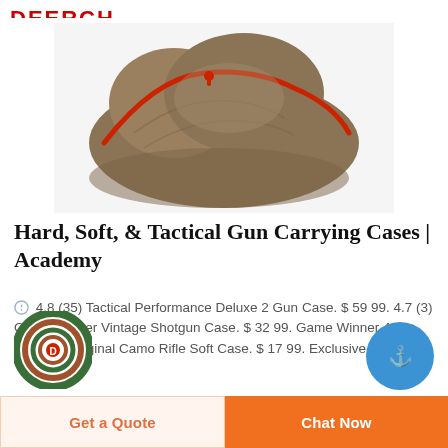DEERCH
[Figure (photo): Close-up photo of a tan/khaki soft gun case with red zipper trim, partially open, viewed from above.]
Hard, Soft, & Tactical Gun Carrying Cases | Academy
4.8 (35) Tactical Performance Deluxe 2 Gun Case. $ 59 99. 4.7 (3) Game Winner Vintage Shotgun Case. $ 32 99. Game Winner 48 in Realtree Original Camo Rifle Soft Case. $ 17 99. Exclusive.
[Figure (logo): Circular logo with red and green concentric rings and a red letter P or D in center.]
[Figure (other): Blue circular anchor button in bottom right corner.]